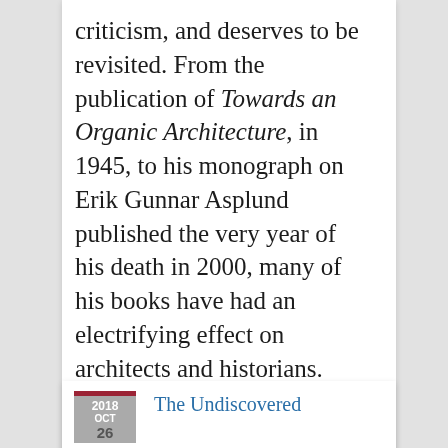criticism, and deserves to be revisited. From the publication of Towards an Organic Architecture, in 1945, to his monograph on Erik Gunnar Asplund published the very year of his death in 2000, many of his books have had an electrifying effect on architects and historians. Active as educator and as political activist, he was an engaged, charismatic…
[Figure (other): Date badge showing 2018 OCT 26 with dark red top bar and gray body]
The Undiscovered